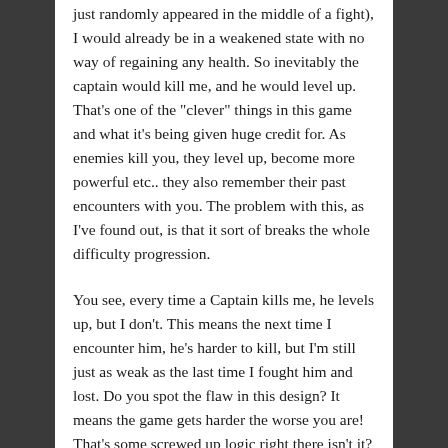just randomly appeared in the middle of a fight), I would already be in a weakened state with no way of regaining any health. So inevitably the captain would kill me, and he would level up. That's one of the "clever" things in this game and what it's being given huge credit for. As enemies kill you, they level up, become more powerful etc.. they also remember their past encounters with you. The problem with this, as I've found out, is that it sort of breaks the whole difficulty progression.
You see, every time a Captain kills me, he levels up, but I don't. This means the next time I encounter him, he's harder to kill, but I'm still just as weak as the last time I fought him and lost. Do you spot the flaw in this design? It means the game gets harder the worse you are! That's some screwed up logic right there isn't it?